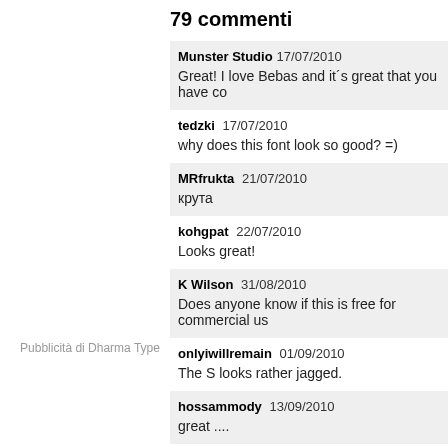79 commenti
Munster Studio  17/07/2010
Great! I love Bebas and it´s great that you have co
tedzki  17/07/2010
why does this font look so good? =)
MRfrukta  21/07/2010
крута
kohgpat  22/07/2010
Looks great!
K Wilson  31/08/2010
Does anyone know if this is free for commercial us
onlyiwillremain  01/09/2010
The S looks rather jagged.
Pubblicità di Dharma Type
hossammody  13/09/2010
great ....
dokluch  01/02/2011
look at number 2. what the?